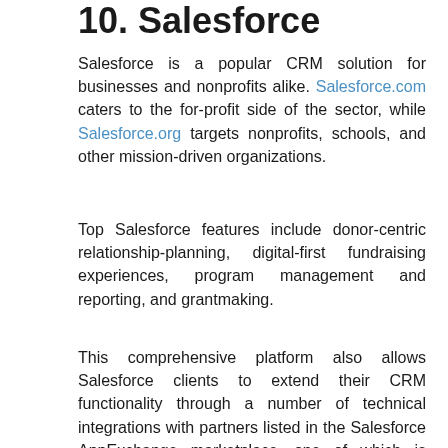10. Salesforce
Salesforce is a popular CRM solution for businesses and nonprofits alike. Salesforce.com caters to the for-profit side of the sector, while Salesforce.org targets nonprofits, schools, and other mission-driven organizations.
Top Salesforce features include donor-centric relationship-planning, digital-first fundraising experiences, program management and reporting, and grantmaking.
This comprehensive platform also allows Salesforce clients to extend their CRM functionality through a number of technical integrations with partners listed in the Salesforce AppExchange marketplace—one of which is Double the Donation. When users leverage Double the Donation's matching gift automation tools, nonprofits can collect two gifts for every one donation